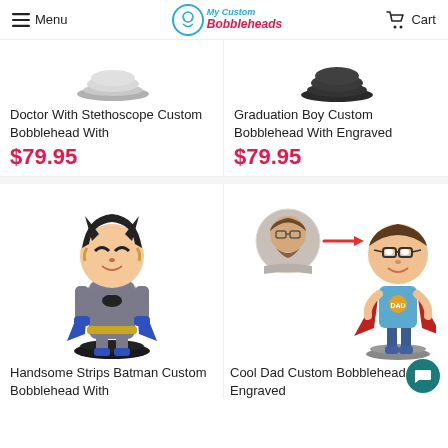Menu | My Custom Bobbleheads | Cart
[Figure (photo): Partially visible bobblehead product image (bottom of figure) - Doctor With Stethoscope]
Doctor With Stethoscope Custom Bobblehead With
$79.95
[Figure (photo): Partially visible bobblehead product image (bottom of figure) - Graduation Boy]
Graduation Boy Custom Bobblehead With Engraved
$79.95
[Figure (photo): Batman custom bobblehead figurine - Handsome Strips Batman standing on black base]
Handsome Strips Batman Custom Bobblehead With
[Figure (photo): Cool Dad custom bobblehead - man in blue superhero outfit with red cape, with reference photo inset]
Cool Dad Custom Bobblehead With Engraved